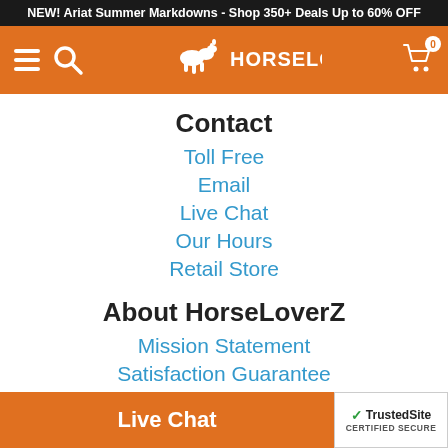NEW! Ariat Summer Markdowns - Shop 350+ Deals Up to 60% OFF
[Figure (logo): HorseLoverZ logo with horse icon on orange navigation bar with hamburger menu, search icon, and shopping cart]
Contact
Toll Free
Email
Live Chat
Our Hours
Retail Store
About HorseLoverZ
Mission Statement
Satisfaction Guarantee
Privacy Policy
Preference Center
Affiliates
Sh…
Live Chat
TrustedSite CERTIFIED SECURE